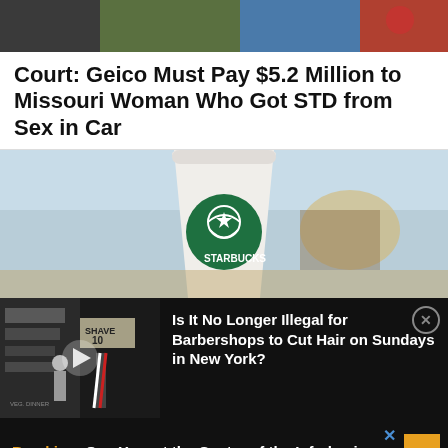[Figure (photo): Top portion of a news page showing partial photo strip with dark figures, green texture, and blue/red elements]
Court: Geico Must Pay $5.2 Million to Missouri Woman Who Got STD from Sex in Car
[Figure (photo): Close-up photo of a Starbucks coffee cup with green logo on white cup, blurred background]
[Figure (photo): Black and white vintage photo of barbershop with barber pole, man standing outside, with overlay text: Is It No Longer Illegal for Barbershops to Cut Hair on Sundays in New York?]
Breaking: One Year at the Center of the Infodemic